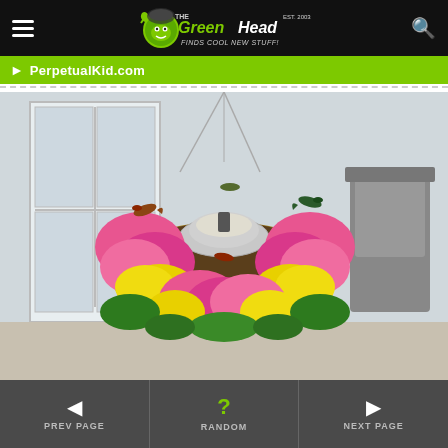The Green Head - Finds Cool New Stuff!
PerpetualKid.com
[Figure (photo): A hanging basket planter with pink and yellow flowers surrounding a bird feeder in the center, with hummingbirds feeding from it. Background shows a patio with white french doors and outdoor furniture.]
PREV PAGE | RANDOM | NEXT PAGE